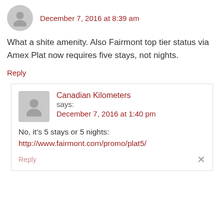December 7, 2016 at 8:39 am
What a shite amenity. Also Fairmont top tier status via Amex Plat now requires five stays, not nights.
Reply
Canadian Kilometers
says:
December 7, 2016 at 1:40 pm
No, it's 5 stays or 5 nights: http://www.fairmont.com/promo/plat5/